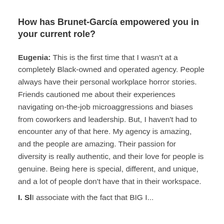How has Brunet-García empowered you in your current role?
Eugenia: This is the first time that I wasn't at a completely Black-owned and operated agency. People always have their personal workplace horror stories. Friends cautioned me about their experiences navigating on-the-job microaggressions and biases from coworkers and leadership. But, I haven't had to encounter any of that here. My agency is amazing, and the people are amazing. Their passion for diversity is really authentic, and their love for people is genuine. Being here is special, different, and unique, and a lot of people don't have that in their workspace.
I. S             I associate with the fact that BIG I...